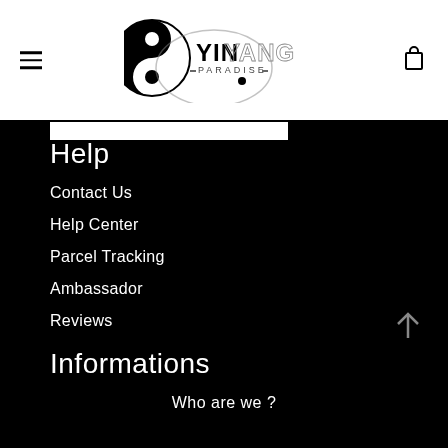Yin Yang Paradise — navigation header with logo, hamburger menu, and cart icon
Help
Contact Us
Help Center
Parcel Tracking
Ambassador
Reviews
Informations
Who are we ?